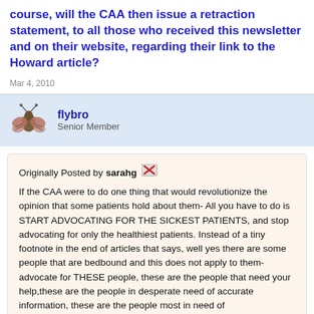course, will the CAA then issue a retraction statement, to all those who received this newsletter and on their website, regarding their link to the Howard article?
Mar 4, 2010
flybro
Senior Member
Originally Posted by sarahg
If the CAA were to do one thing that would revolutionize the opinion that some patients hold about them- All you have to do is START ADVOCATING FOR THE SICKEST PATIENTS, and stop advocating for only the healthiest patients. Instead of a tiny footnote in the end of articles that says, well yes there are some people that are bedbound and this does not apply to them- advocate for THESE people, these are the people that need your help,these are the people in desperate need of accurate information, these are the people most in need of